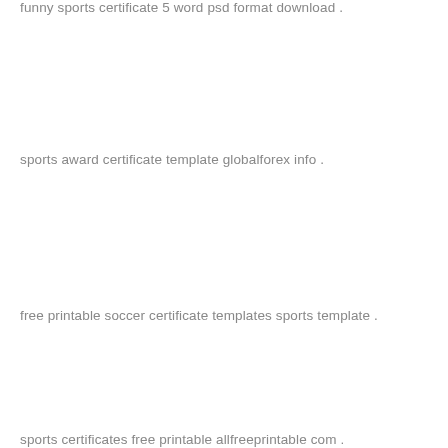funny sports certificate 5 word psd format download .
sports award certificate template globalforex info .
free printable soccer certificate templates sports template .
sports certificates free printable allfreeprintable com .